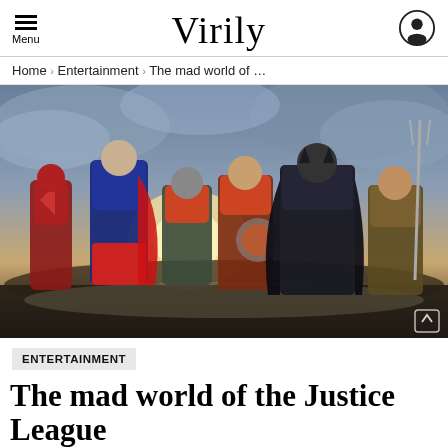Menu  Virily
Home › Entertainment › The mad world of …
[Figure (photo): Justice League movie promotional image featuring six DC superheroes (Flash, Superman, Cyborg, Wonder Woman, Batman, Aquaman) standing heroically against a dramatic cloudy sky background]
ENTERTAINMENT
The mad world of the Justice League